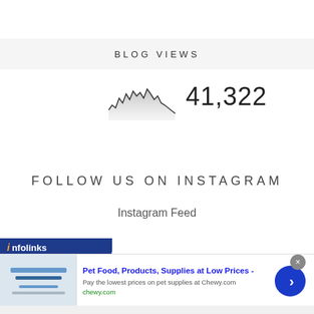BLOG VIEWS
[Figure (continuous-plot): Small sparkline/area chart showing blog view trends over time, shaded gray area beneath an irregular jagged line]
41,322
FOLLOW US ON INSTAGRAM
Instagram Feed
[Figure (infographic): Infolinks advertisement banner. Ad headline: Pet Food, Products, Supplies at Low Prices - Description: Pay the lowest prices on pet supplies at Chewy.com URL: chewy.com]
Pet Food, Products, Supplies at Low Prices -
Pay the lowest prices on pet supplies at Chewy.com
chewy.com